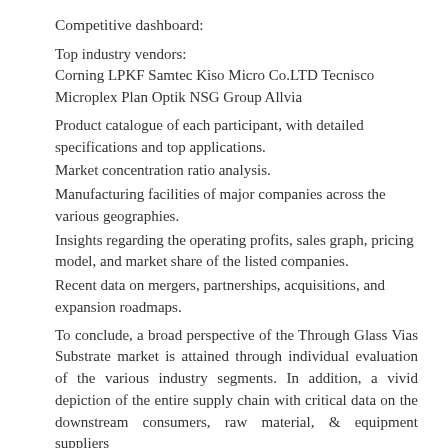Competitive dashboard:
Top industry vendors:
Corning LPKF Samtec Kiso Micro Co.LTD Tecnisco Microplex Plan Optik NSG Group Allvia
Product catalogue of each participant, with detailed specifications and top applications.
Market concentration ratio analysis.
Manufacturing facilities of major companies across the various geographies.
Insights regarding the operating profits, sales graph, pricing model, and market share of the listed companies.
Recent data on mergers, partnerships, acquisitions, and expansion roadmaps.
To conclude, a broad perspective of the Through Glass Vias Substrate market is attained through individual evaluation of the various industry segments. In addition, a vivid depiction of the entire supply chain with critical data on the downstream consumers, raw material, & equipment suppliers